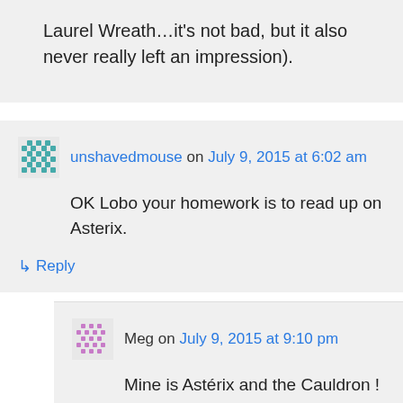Laurel Wreath…it's not bad, but it also never really left an impression).
unshavedmouse on July 9, 2015 at 6:02 am
OK Lobo your homework is to read up on Asterix.
↳ Reply
Meg on July 9, 2015 at 9:10 pm
Mine is Astérix and the Cauldron !